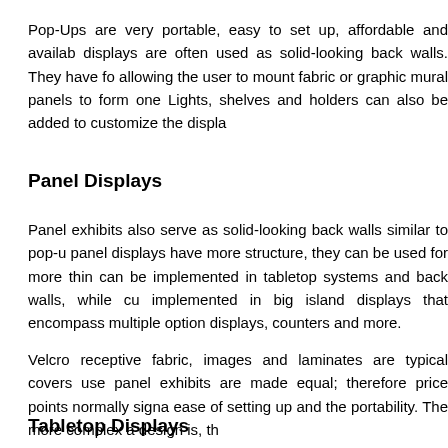Pop-Ups are very portable, easy to set up, affordable and available displays are often used as solid-looking back walls. They have fo allowing the user to mount fabric or graphic mural panels to form one Lights, shelves and holders can also be added to customize the displa
Panel Displays
Panel exhibits also serve as solid-looking back walls similar to pop-u panel displays have more structure, they can be used for more thin can be implemented in tabletop systems and back walls, while cu implemented in big island displays that encompass multiple option displays, counters and more.
Velcro receptive fabric, images and laminates are typical covers use panel exhibits are made equal; therefore price points normally signa ease of setting up and the portability. The more complex a design is, th
Tabletop Displays